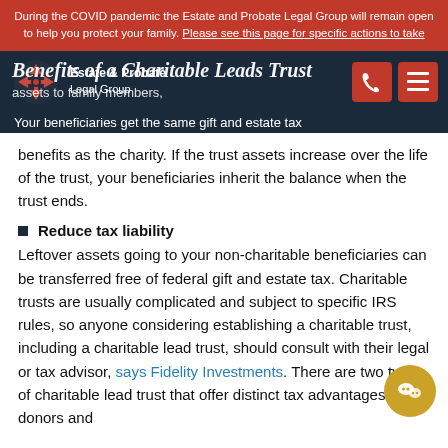During the COVID pandemic the Estate and Probate Legal Group will remain open to help you protect your family. Please see this page for specific actions to take
Benefits of a Charitable Leads Trust
benefits as the charity. If the trust assets increase over the life of the trust, your beneficiaries inherit the balance when the trust ends.
Reduce tax liability
Leftover assets going to your non-charitable beneficiaries can be transferred free of federal gift and estate tax. Charitable trusts are usually complicated and subject to specific IRS rules, so anyone considering establishing a charitable trust, including a charitable lead trust, should consult with their legal or tax advisor, says Fidelity Investments. There are two types of charitable lead trust that offer distinct tax advantages to donors and